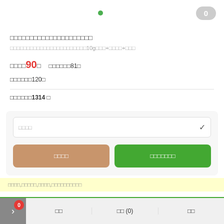[Figure (screenshot): Green dot status indicator in top bar]
0 (badge, gray rounded pill, top right)
□□□□□□□□□□□□□□□□□□□□□
□□□□□□□□□□□□□□□□□□□□□□□10g□□□+□□□□+□□□
□□□□□90□  □□□□□□81□
□□□□□□120□
□□□□□□1314 □
□□□□ (dropdown option selector)
□□□□ (cart button)
□□□□□□□ (buy button)
□□□□,□□□□□,□□□□,□□□□□□□□□□
0 (red badge)
□□  □□ (0)  □□
> □□  □□ (0)  □□